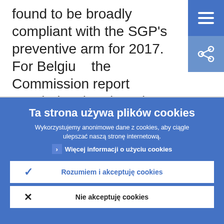found to be broadly compliant with the SGP's preventive arm for 2017. For Belgium the Commission report concludes that there is no sufficiently robust evidence to conclude that Belgium did not comply with
Ta strona używa plików cookies
Wykorzystujemy anonimowe dane z cookies, aby ciągle ulepszać naszą stronę internetową.
› Więcej informacji o użyciu cookies
✓ Rozumiem i akceptuję cookies
✗ Nie akceptuję cookies